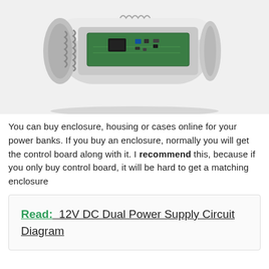[Figure (photo): Photo of a cylindrical power bank enclosure opened to reveal the green control board with components, battery springs visible, and a USB port on the side. The enclosure is silver/aluminum colored.]
You can buy enclosure, housing or cases online for your power banks. If you buy an enclosure, normally you will get the control board along with it. I recommend this, because if you only buy control board, it will be hard to get a matching enclosure
Read:  12V DC Dual Power Supply Circuit Diagram